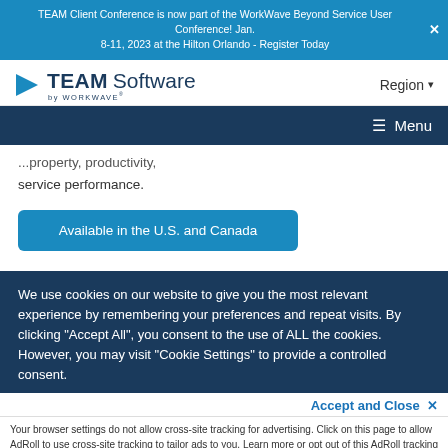TEAM Client Conference is now part of the WorkWave Beyond Service User Conference! Jan. 8-11, 2023 at the Hilton Orlando - Register Today
[Figure (logo): TEAM Software by WORKWAVE logo with blue arrow play-button icon]
Region
Menu
...property, productivity, service performance.
Available in the U.S. and Canada
We use cookies on our website to give you the most relevant experience by remembering your preferences and repeat visits. By clicking “Accept All”, you consent to the use of ALL the cookies. However, you may visit "Cookie Settings" to provide a controlled consent.
Accept and Close ×
Your browser settings do not allow cross-site tracking for advertising. Click on this page to allow AdRoll to use cross-site tracking to tailor ads to you. Learn more or opt out of this AdRoll tracking by clicking here. This message only appears once.